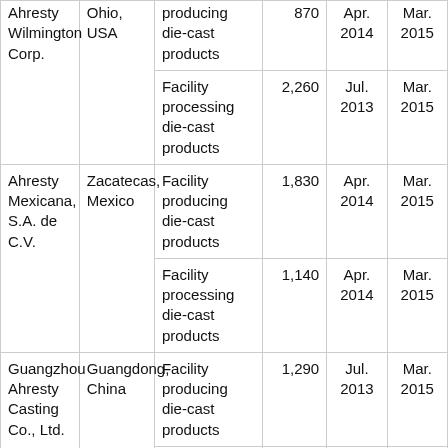| Company | Location | Facility Type | Area (sqm) | Start | End |
| --- | --- | --- | --- | --- | --- |
| Ahresty Wilmington Corp. | Ohio, USA | Facility producing die-cast products | 870 | Apr. 2014 | Mar. 2015 |
| Ahresty Wilmington Corp. | Ohio, USA | Facility processing die-cast products | 2,260 | Jul. 2013 | Mar. 2015 |
| Ahresty Mexicana, S.A. de C.V. | Zacatecas, Mexico | Facility producing die-cast products | 1,830 | Apr. 2014 | Mar. 2015 |
| Ahresty Mexicana, S.A. de C.V. | Zacatecas, Mexico | Facility processing die-cast products | 1,140 | Apr. 2014 | Mar. 2015 |
| Guangzhou Ahresty Casting Co., Ltd. | Guangdong, China | Facility producing die-cast products | 1,290 | Jul. 2013 | Mar. 2015 |
| Guangzhou Ahresty Casting Co., Ltd. | Guangdong, China | Facility processing die-cast products |  | May. | Mar. 2015 |